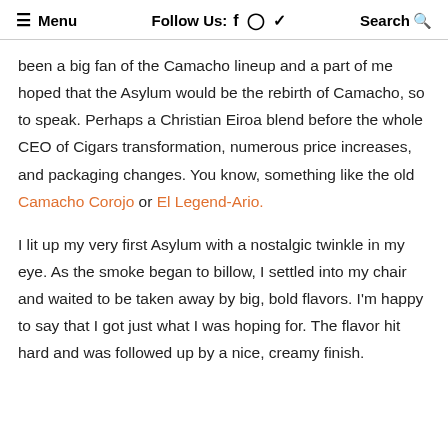≡ Menu   Follow Us: f ⊙ ✓   Search 🔍
been a big fan of the Camacho lineup and a part of me hoped that the Asylum would be the rebirth of Camacho, so to speak. Perhaps a Christian Eiroa blend before the whole CEO of Cigars transformation, numerous price increases, and packaging changes. You know, something like the old Camacho Corojo or El Legend-Ario.
I lit up my very first Asylum with a nostalgic twinkle in my eye. As the smoke began to billow, I settled into my chair and waited to be taken away by big, bold flavors. I'm happy to say that I got just what I was hoping for. The flavor hit hard and was followed up by a nice, creamy finish.